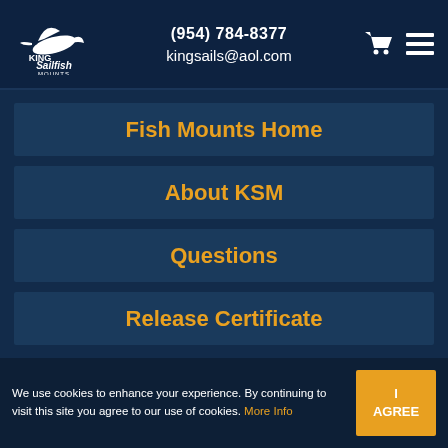(954) 784-8377 | kingsails@aol.com
Fish Mounts Home
About KSM
Questions
Release Certificate
We use cookies to enhance your experience. By continuing to visit this site you agree to our use of cookies. More Info | I AGREE